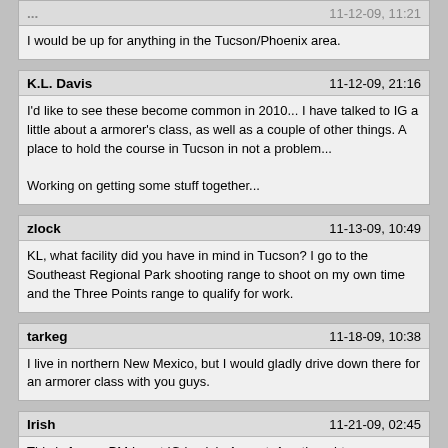I would be up for anything in the Tucson/Phoenix area.
K.L. Davis	11-12-09, 21:16
I'd like to see these become common in 2010... I have talked to IG a little about a armorer's class, as well as a couple of other things. A place to hold the course in Tucson in not a problem...

Working on getting some stuff together...
zlock	11-13-09, 10:49
KL, what facility did you have in mind in Tucson? I go to the Southeast Regional Park shooting range to shoot on my own time and the Three Points range to qualify for work.
tarkeg	11-18-09, 10:38
I live in northern New Mexico, but I would gladly drive down there for an armorer class with you guys.
Irish	11-21-09, 02:45
This is from a PM I sent IG back in August. Any thoughts or suggestions that might help make this happen or improve on what I've come up with?

First off, welcome back home! I'm not sure where you're at in AZ but I'm up in Vegas so we're not too far away from one another. I have no idea what you do in your time here stateside but if you ever wanted to make some extra cash have you ever thought about doing an AR-15 armorer's/maintenance and upkeep course?
I don't mean down to the gnat's ass taking apart a PUJG and getting too crazy...